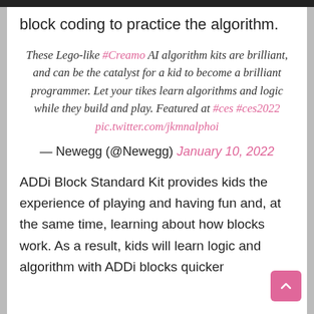block coding to practice the algorithm.
These Lego-like #Creamo AI algorithm kits are brilliant, and can be the catalyst for a kid to become a brilliant programmer. Let your tikes learn algorithms and logic while they build and play. Featured at #ces #ces2022 pic.twitter.com/jkmnalphoi
— Newegg (@Newegg) January 10, 2022
ADDi Block Standard Kit provides kids the experience of playing and having fun and, at the same time, learning about how blocks work. As a result, kids will learn logic and algorithm with ADDi blocks quicker